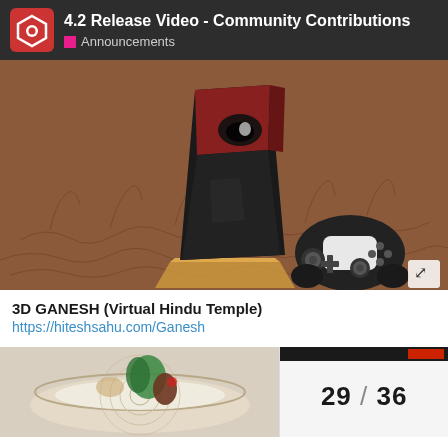4.2 Release Video - Community Contributions
Announcements
[Figure (photo): 3D rendered image of a PlayStation 5 console with a God of War themed skin featuring a red and black design with a face motif and blue LED strip, placed on a transparent/crystal stand on a brown stone-patterned surface, with a black PS5 DualSense controller placed to the right]
3D GANESH (Virtual Hindu Temple)
https://hiteshsahu.com/Ganesh
[Figure (photo): 3D rendered image partially visible showing what appears to be a decorative bowl or dish with green and red elements, likely related to the 3D Ganesh virtual Hindu temple project]
29 / 36